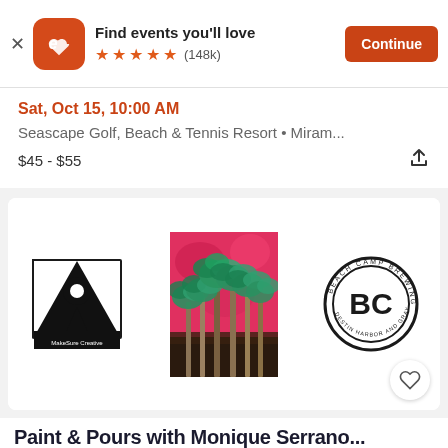[Figure (screenshot): App store banner for Eventbrite app with logo, 'Find events you'll love' text, 5-star rating (148k reviews), and orange Continue button]
Sat, Oct 15, 10:00 AM
Seascape Golf, Beach & Tennis Resort • Miram...
$45 - $55
[Figure (photo): Event card image showing three images: left is MakeSure Creative logo (black bird/person with hat), center is a colorful painting of palm trees on pink/red background, right is Beach Camp Brewing Co circular logo]
Paint & Pours with Monique Serrano...